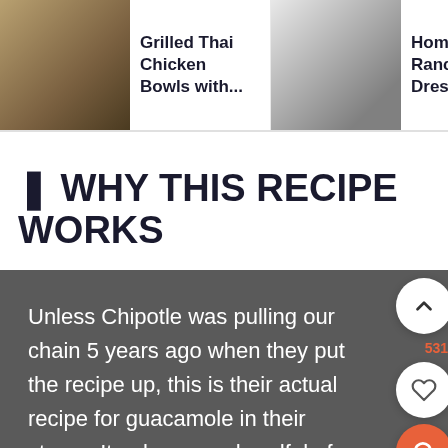Grilled Thai Chicken Bowls with... | Homemade Ranch Dressing Mix | Restaurant Style Sals...
🍴 WHY THIS RECIPE WORKS
Unless Chipotle was pulling our chain 5 years ago when they put the recipe up, this is their actual recipe for guacamole in their stores. It only uses a handful of fresh ingredients and has the perfect ratio of salt to acidity...